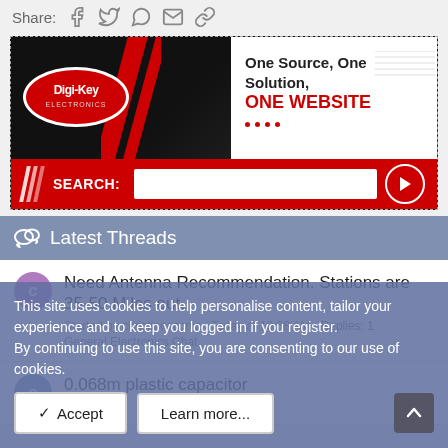Share:
[Figure (advertisement): Digi-Key Electronics advertisement: One Source, One Solution, ONE WEBSITE with search bar and play button]
Latest Threads
Need Antenna Recommendation. Stations are 35-50 Miles out.
Started by christinescoms · Today at 10:58 AM · Replies: 1
General Electronics Chat
0.068m plastic capacitor
This site uses cookies to help personalise content, tailor your experience and to keep you logged in if you register.
By continuing to use this site, you are consenting to our use of cookies.